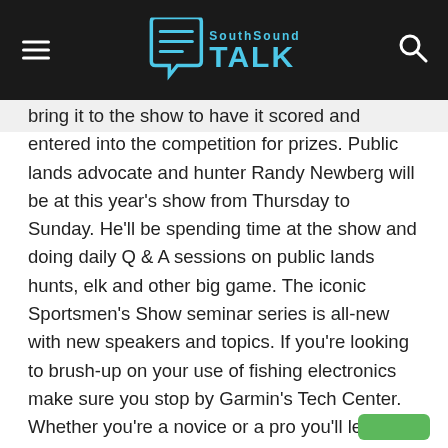SouthSound TALK
bring it to the show to have it scored and entered into the competition for prizes. Public lands advocate and hunter Randy Newberg will be at this year's show from Thursday to Sunday. He'll be spending time at the show and doing daily Q & A sessions on public lands hunts, elk and other big game. The iconic Sportsmen's Show seminar series is all-new with new speakers and topics. If you're looking to brush-up on your use of fishing electronics make sure you stop by Garmin's Tech Center. Whether you're a novice or a pro you'll learn how to get the most out of your fishing electronics from these experts. This is the biggest sportsmen's show in Washington State with miles of aisles to wander and so much more to see and experience. For tickets and show details visit www.TheSportShows.com. Parking is FREE!